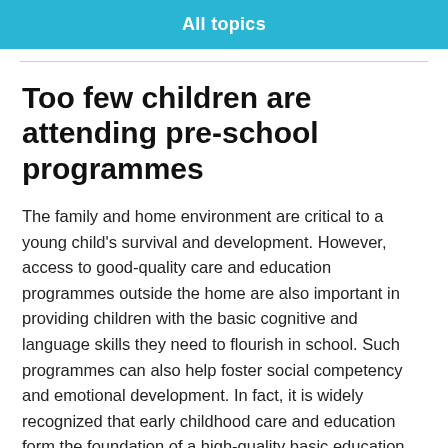All topics
Too few children are attending pre-school programmes
The family and home environment are critical to a young child's survival and development. However, access to good-quality care and education programmes outside the home are also important in providing children with the basic cognitive and language skills they need to flourish in school. Such programmes can also help foster social competency and emotional development. In fact, it is widely recognized that early childhood care and education form the foundation of a high-quality basic education.
That said, too few children are attending preschool